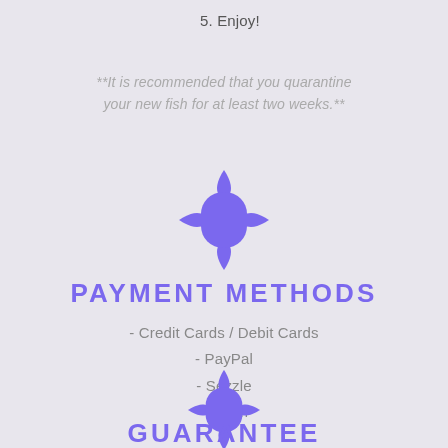5. Enjoy!
**It is recommended that you quarantine your new fish for at least two weeks.**
[Figure (illustration): Purple decorative Moorish/arabesque lantern-shaped ornament logo]
PAYMENT METHODS
- Credit Cards / Debit Cards
- PayPal
- Sezzle
- Affirm
[Figure (illustration): Purple decorative Moorish/arabesque lantern-shaped ornament logo]
GUARANTEE